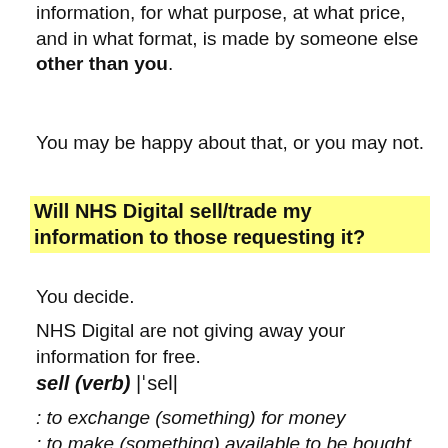information, for what purpose, at what price, and in what format, is made by someone else other than you.
You may be happy about that, or you may not.
Will NHS Digital sell/trade my information to those requesting it?
You decide.
NHS Digital are not giving away your information for free.
sell (verb) |ˈsel|
: to exchange (something) for money
: to make (something) available to be bought